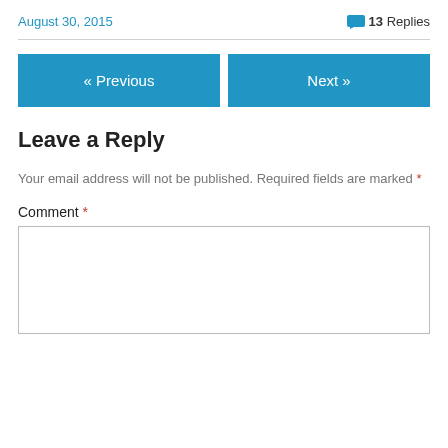August 30, 2015    💬 13 Replies
Leave a Reply
Your email address will not be published. Required fields are marked *
Comment *